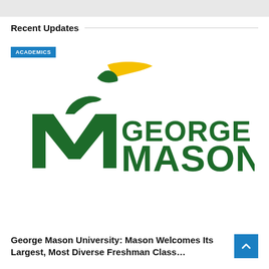Recent Updates
ACADEMICS
[Figure (logo): George Mason University logo: dark green stylized 'M' letterform with yellow and green swoosh accent above, and text 'GEORGE MASON' in dark green serif-style bold letters]
George Mason University: Mason Welcomes Its Largest, Most Diverse Freshman Class…